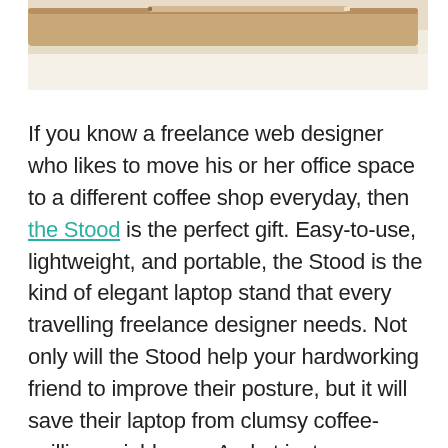[Figure (photo): Partial view of a wooden laptop stand (the Stood) on a light surface, showing the top edge of the stand with a pencil or stylus resting on it. The image is cropped, showing only the upper portion.]
If you know a freelance web designer who likes to move his or her office space to a different coffee shop everyday, then the Stood is the perfect gift. Easy-to-use, lightweight, and portable, the Stood is the kind of elegant laptop stand that every travelling freelance designer needs. Not only will the Stood help your hardworking friend to improve their posture, but it will save their laptop from clumsy coffee-spilling neighbours. And at just over $30.00 USD, the Stood is a steal.